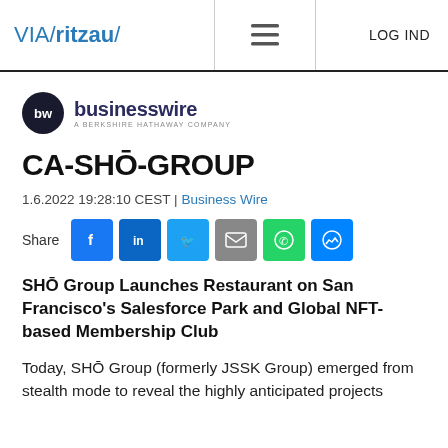VIA / ritzau / | (menu) | LOG IND
[Figure (logo): BusinessWire logo — circular bw icon with 'businesswire' text and 'A BERKSHIRE HATHAWAY COMPANY' subtitle]
CA-SHŌ-GROUP
1.6.2022 19:28:10 CEST | Business Wire
[Figure (infographic): Share buttons row: Facebook, LinkedIn, Twitter, Email, WhatsApp, Messenger]
SHŌ Group Launches Restaurant on San Francisco's Salesforce Park and Global NFT-based Membership Club
Today, SHŌ Group (formerly JSSK Group) emerged from stealth mode to reveal the highly anticipated projects